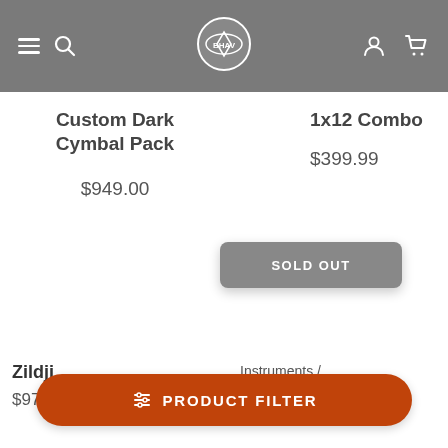Navigation bar with hamburger menu, search, logo, user and cart icons
Custom Dark Cymbal Pack
$949.00
1x12 Combo
$399.99
SOLD OUT
Zildji
$979.00
Instruments / Sequential Packet X
PRODUCT FILTER